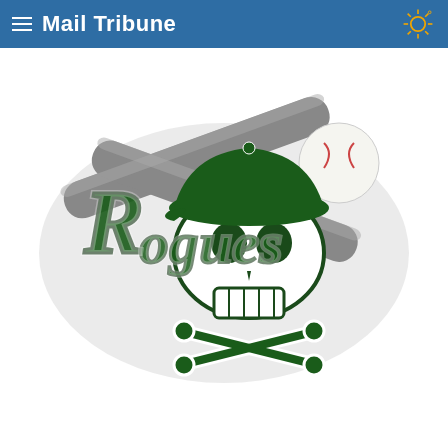Mail Tribune
[Figure (logo): Medford Rogues minor league baseball team logo — green and gray script lettering spelling 'Rogues' over crossed baseball bats, with a skull wearing a green cap in the center, on a white background]